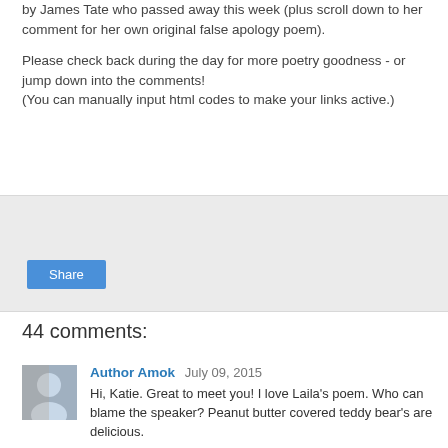by James Tate who passed away this week (plus scroll down to her comment for her own original false apology poem).
Please check back during the day for more poetry goodness - or jump down into the comments!
(You can manually input html codes to make your links active.)
[Figure (other): Share button widget area with light gray background and a blue Share button]
44 comments:
Author Amok  July 09, 2015
Hi, Katie. Great to meet you! I love Laila's poem. Who can blame the speaker? Peanut butter covered teddy bear's are delicious.
I'm continuing my World Poetry series with poet Danuta E. Kosk-Kosicka of Poland. Danuta has lived in the U.S. since